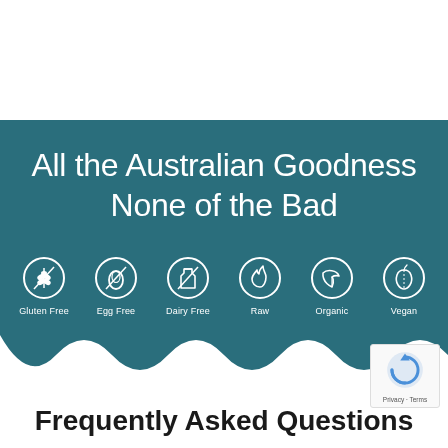[Figure (infographic): Teal banner with wavy top and bottom edges. Contains title text 'All the Australian Goodness None of the Bad' and six circular icons: Gluten Free, Egg Free, Dairy Free, Raw, Organic, Vegan.]
All the Australian Goodness None of the Bad
Frequently Asked Questions